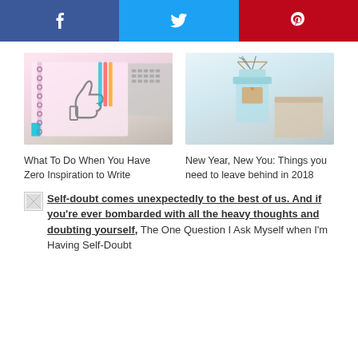[Figure (infographic): Social share bar with Facebook (blue), Twitter (light blue), and Pinterest (red) buttons with icons]
[Figure (photo): Notebook with thumbs up drawing, laptop keyboard, and pens on white desk]
What To Do When You Have Zero Inspiration to Write
[Figure (photo): Blue mason jar with tag and cardboard box on light background]
New Year, New You: Things you need to leave behind in 2018
[Figure (other): Small image placeholder icon]
Self-doubt comes unexpectedly to the best of us. And if you're ever bombarded with all the heavy thoughts and doubting yourself, The One Question I Ask Myself when I'm Having Self-Doubt